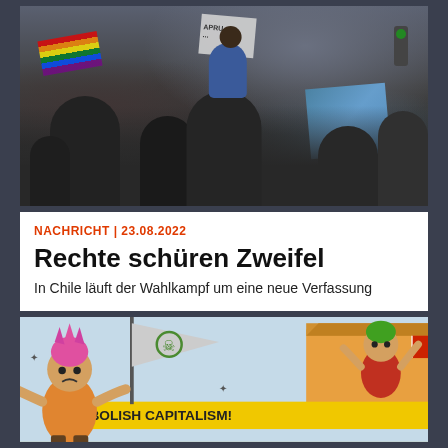[Figure (photo): Crowd of protesters with colorful flags including a rainbow flag, white sign reading 'APRU...', and blue flag. A child sits on someone's shoulders in the crowd.]
NACHRICHT | 23.08.2022
Rechte schüren Zweifel
In Chile läuft der Wahlkampf um eine neue Verfassung
[Figure (illustration): Cartoon illustration of punk characters with a pirate/skull flag, and a banner reading 'ABOLISH CAPITALISM!' with small red book icons.]